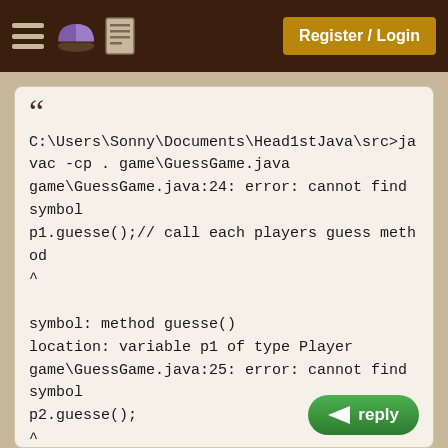Register / Login
C:\Users\Sonny\Documents\Head1stJava\src>javac -cp . game\GuessGame.java
game\GuessGame.java:24: error: cannot find symbol
p1.guesse();// call each players guess method
^
symbol: method guesse()
location: variable p1 of type Player
game\GuessGame.java:25: error: cannot find symbol
p2.guesse();
^
symbol: method guesse()
location: variable p2 of type Player
game\GuessGame.java:26: error: cannot find symbol
p3.guesse();
^
symbol: method guesse()
location: variable p3 of type Player